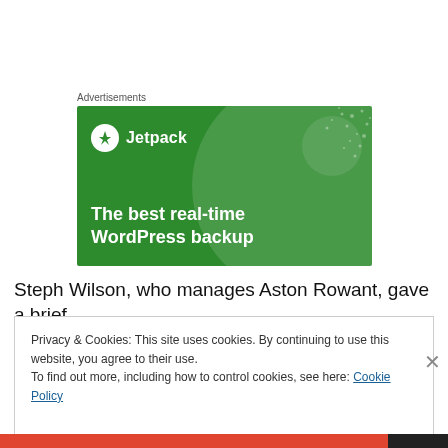Advertisements
[Figure (illustration): Jetpack advertisement banner with green background, circular decorative shapes, Jetpack logo with lightning bolt icon, and text 'The best real-time WordPress backup']
Steph Wilson, who manages Aston Rowant, gave a brief
Privacy & Cookies: This site uses cookies. By continuing to use this website, you agree to their use.
To find out more, including how to control cookies, see here: Cookie Policy
Close and accept